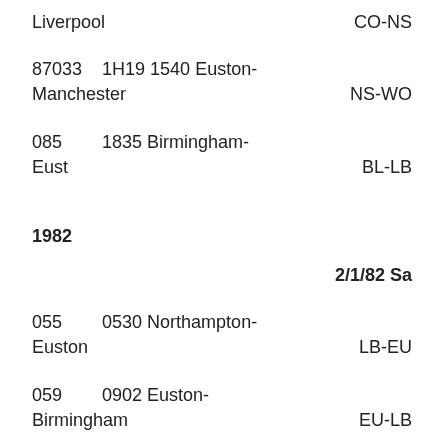Liverpool	CO-NS
87033	1H19 1540 Euston-Manchester	NS-WO
085	1835 Birmingham-Eust	BL-LB
1982
2/1/82 Sa
055	0530 Northampton-Euston	LB-EU
059	0902 Euston-Birmingham	EU-LB